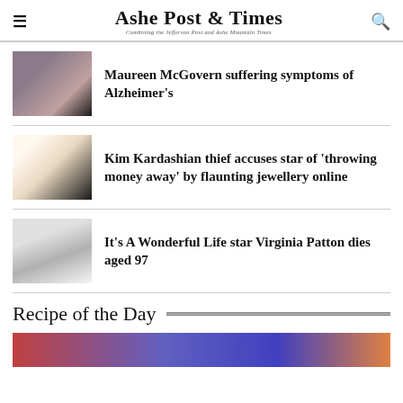Ashe Post & Times — Combining the Jefferson Post and Ashe Mountain Times
Maureen McGovern suffering symptoms of Alzheimer's
Kim Kardashian thief accuses star of 'throwing money away' by flaunting jewellery online
It's A Wonderful Life star Virginia Patton dies aged 97
Recipe of the Day
[Figure (photo): Colorful food photo at bottom of page]